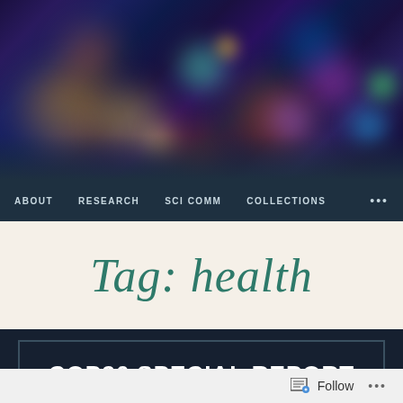[Figure (photo): Blurred bokeh night city skyline with colorful lights — dark blue, purple, orange, green, and white circular bokeh spots against a dark urban background]
ABOUT   RESEARCH   SCI COMM   COLLECTIONS   ...
Tag: health
COP26 SPECIAL REPORT ON CLIMATE CHANGE AND HEALTH
Follow ...